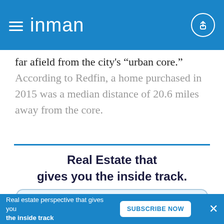inman
far afield from the city's “urban core.” According to Redfin, a home purchased in 2015 was a median distance of 20.6 miles away from the core.
Real Estate that gives you the inside track.
Select Yearly
$249 annually
Real estate perspective that gives you the inside track   SUBSCRIBE NOW  ×